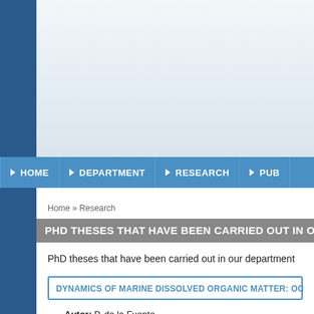[Figure (screenshot): Website header with blue left sidebar and navigation bar containing HOME, DEPARTMENT, RESEARCH, PUB... menu items on a blue background]
Home » Research
PHD THESES THAT HAVE BEEN CARRIED OUT IN O...
PhD theses that have been carried out in our department
DYNAMICS OF MARINE DISSOLVED ORGANIC MATTER: OC...
Autor: P. de la Fuente
Director/es tesis: J.L. Pelegrí, C. Marrasé